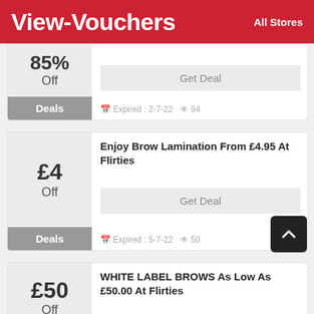View-Vouchers   All Stores
85% Off — Deals — Expired: 2-7-22 — 94 views — Get Deal
Enjoy Brow Lamination From £4.95 At Flirties — £4 Off — Deals — Expired: 5-7-22 — 50 views — Get Deal
WHITE LABEL BROWS As Low As £50.00 At Flirties — £50 Off